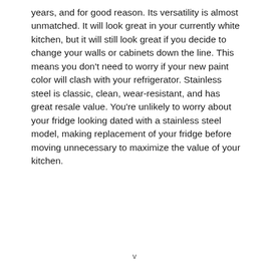years, and for good reason. Its versatility is almost unmatched. It will look great in your currently white kitchen, but it will still look great if you decide to change your walls or cabinets down the line. This means you don't need to worry if your new paint color will clash with your refrigerator. Stainless steel is classic, clean, wear-resistant, and has great resale value. You're unlikely to worry about your fridge looking dated with a stainless steel model, making replacement of your fridge before moving unnecessary to maximize the value of your kitchen.
v